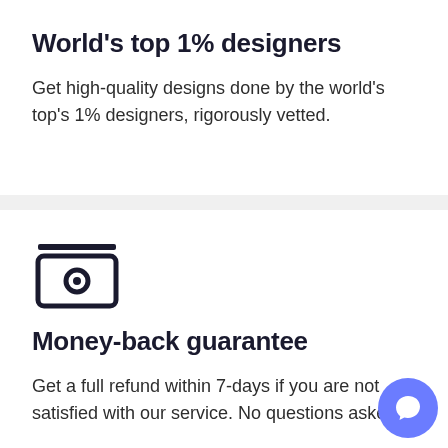World's top 1% designers
Get high-quality designs done by the world's top's 1% designers, rigorously vetted.
[Figure (illustration): Money/cash icon: a rounded rectangle with a dot/circle inside, representing currency or payment, with a horizontal line on top]
Money-back guarantee
Get a full refund within 7-days if you are not satisfied with our service. No questions asked.